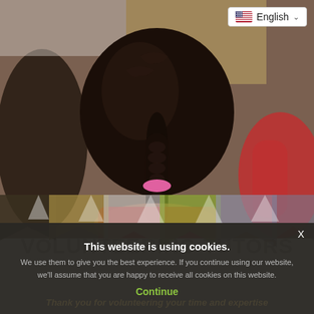[Figure (photo): Back view of a young girl with dark braided hair tied with a pink hair tie, wearing a red shirt, in a classroom setting with other children visible]
English
VOLUNTEERING TUTORS
This website is using cookies.
We use them to give you the best experience. If you continue using our website, we'll assume that you are happy to receive all cookies on this website.
Continue
Thank you for volunteering your time and expertise